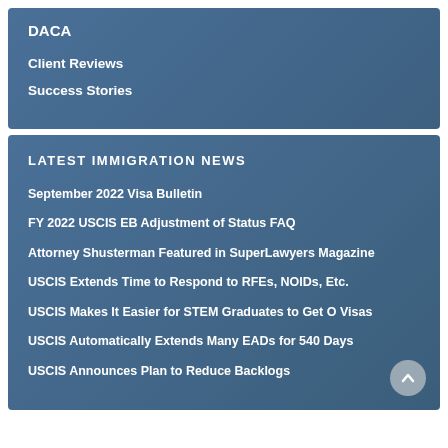DACA
Client Reviews
Success Stories
LATEST IMMIGRATION NEWS
September 2022 Visa Bulletin
FY 2022 USCIS EB Adjustment of Status FAQ
Attorney Shusterman Featured in SuperLawyers Magazine
USCIS Extends Time to Respond to RFEs, NOIDs, Etc.
USCIS Makes It Easier for STEM Graduates to Get O Visas
USCIS Automatically Extends Many EADs for 540 Days
USCIS Announces Plan to Reduce Backlogs